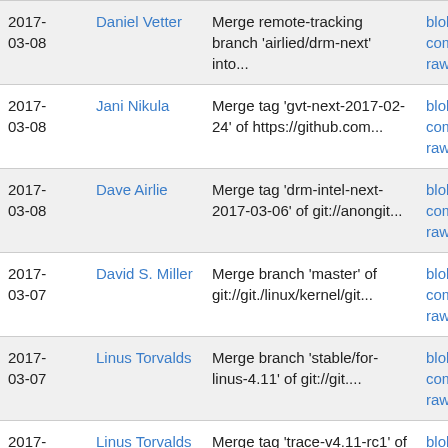| Date | Author | Commit message | Links |
| --- | --- | --- | --- |
| 2017-03-08 | Daniel Vetter | Merge remote-tracking branch 'airlied/drm-next' into... | blob | commitdiff | raw |
| 2017-03-08 | Jani Nikula | Merge tag 'gvt-next-2017-02-24' of https://github.com... | blob | commitdiff | raw |
| 2017-03-08 | Dave Airlie | Merge tag 'drm-intel-next-2017-03-06' of git://anongit... | blob | commitdiff | raw |
| 2017-03-07 | David S. Miller | Merge branch 'master' of git://git./linux/kernel/git... | blob | commitdiff | raw |
| 2017-03-07 | Linus Torvalds | Merge branch 'stable/for-linus-4.11' of git://git.... | blob | commitdiff | raw |
| 2017-03-07 | Linus Torvalds | Merge tag 'trace-v4.11-rc1' of git://git./linux/kernel... | blob | commitdiff | raw |
| 2017-03-07 | Jonathan Corbet | Merge tag 'v4.11-rc1' into docs-next | blob | commitdiff | raw |